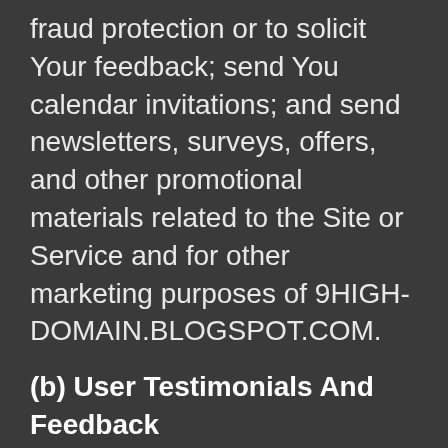fraud protection or to solicit Your feedback; send You calendar invitations; and send newsletters, surveys, offers, and other promotional materials related to the Site or Service and for other marketing purposes of 9HIGH-DOMAIN.BLOGSPOT.COM.
(b) User Testimonials And Feedback
We often receive testimonials and comments from users who have had positive experiences with Our Service. We occasionally publish such Content. When We publish this